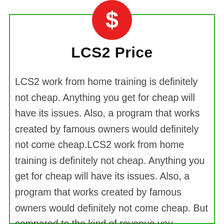[Figure (illustration): Red circle with white dollar sign icon]
LCS2 Price
LCS2 work from home training is definitely not cheap. Anything you get for cheap will have its issues. Also, a program that works created by famous owners would definitely not come cheap.LCS2 work from home training is definitely not cheap. Anything you get for cheap will have its issues. Also, a program that works created by famous owners would definitely not come cheap. But compared to the kind of revenue you